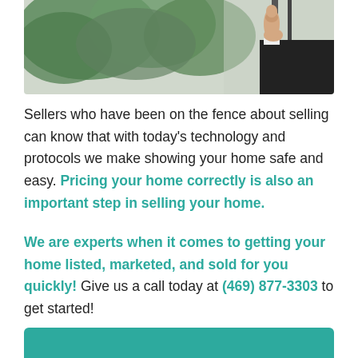[Figure (photo): Photo of a person in a business suit giving a thumbs up gesture, with green plants/foliage in the background]
Sellers who have been on the fence about selling can know that with today's technology and protocols we make showing your home safe and easy. Pricing your home correctly is also an important step in selling your home.

We are experts when it comes to getting your home listed, marketed, and sold for you quickly! Give us a call today at (469) 877-3303 to get started!